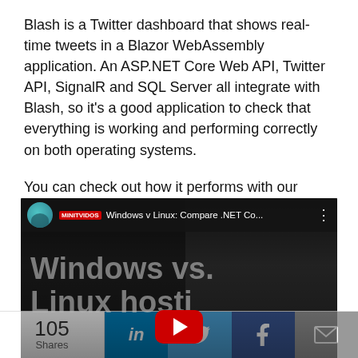Blash is a Twitter dashboard that shows real-time tweets in a Blazor WebAssembly application. An ASP.NET Core Web API, Twitter API, SignalR and SQL Server all integrate with Blash, so it's a good application to check that everything is working and performing correctly on both operating systems.
You can check out how it performs with our video below.
[Figure (screenshot): YouTube video thumbnail showing 'Windows v Linux: Compare .NET Co...' with large overlay text 'Windows vs. Linux hosti' and a YouTube play button. Channel avatar visible on left. Three-dot menu on right.]